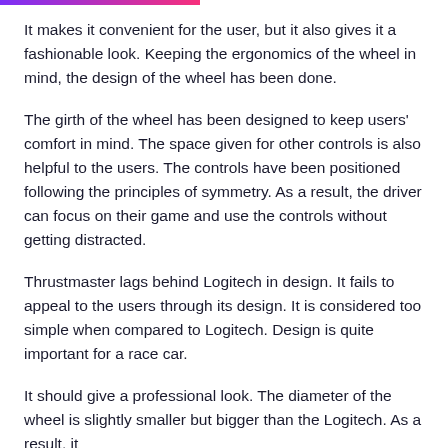It makes it convenient for the user, but it also gives it a fashionable look. Keeping the ergonomics of the wheel in mind, the design of the wheel has been done.
The girth of the wheel has been designed to keep users' comfort in mind. The space given for other controls is also helpful to the users. The controls have been positioned following the principles of symmetry. As a result, the driver can focus on their game and use the controls without getting distracted.
Thrustmaster lags behind Logitech in design. It fails to appeal to the users through its design. It is considered too simple when compared to Logitech. Design is quite important for a race car.
It should give a professional look. The diameter of the wheel is slightly smaller but bigger than the Logitech. As a result, it is...